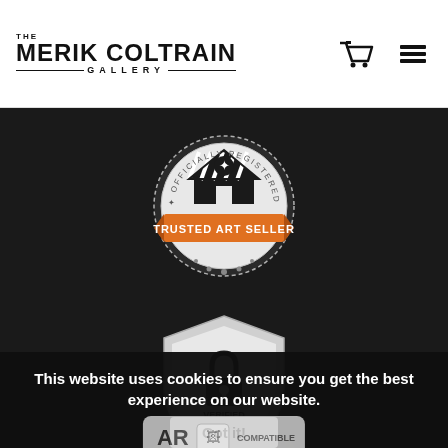THE MERIK COLTRAIN GALLERY
[Figure (logo): Trusted Art Seller badge - circular seal with orange ribbon reading TRUSTED ART SELLER, officially registered stamp design with house/market icon]
[Figure (logo): Verified Secure Website badge - shield shape with padlock icon, orange ribbon at bottom reading SSL ENCRYPTED]
This website uses cookies to ensure you get the best experience on our website.
[Figure (logo): AR Compatible badge]
Got it!